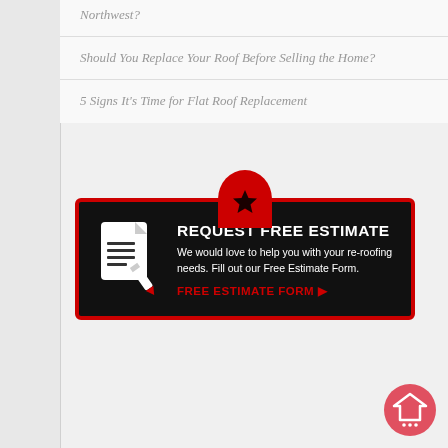Northwest?
Should You Replace Your Roof Before Selling the Home?
5 Signs It's Time for Flat Roof Replacement
[Figure (infographic): Black banner with red border and red semicircle tab at top containing a star. Left side shows a document-with-pencil icon in white. Right side shows 'REQUEST FREE ESTIMATE' in bold white text, followed by 'We would love to help you with your re-roofing needs. Fill out our Free Estimate Form.' in white, and 'FREE ESTIMATE FORM ▶' in red bold text.]
[Figure (illustration): Red circular chat/home icon in bottom right corner showing a house outline with chat bubble dots underneath.]